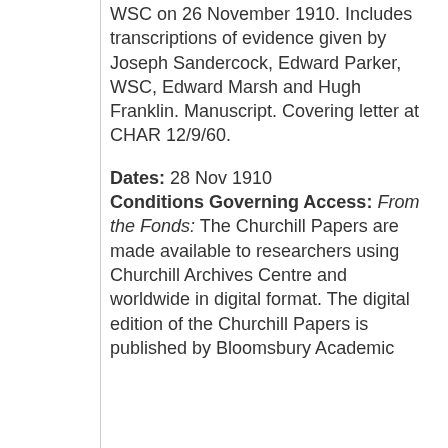WSC on 26 November 1910. Includes transcriptions of evidence given by Joseph Sandercock, Edward Parker, WSC, Edward Marsh and Hugh Franklin. Manuscript. Covering letter at CHAR 12/9/60.
Dates: 28 Nov 1910
Conditions Governing Access: From the Fonds: The Churchill Papers are made available to researchers using Churchill Archives Centre and worldwide in digital format. The digital edition of the Churchill Papers is published by Bloomsbury Academic